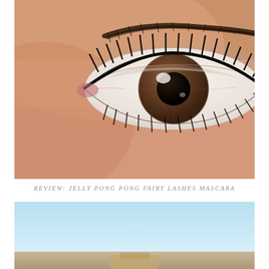[Figure (photo): Close-up macro photograph of a woman's eye with mascara on upper and lower lashes, showing brown iris and light skin tone]
REVIEW: JELLY PONG PONG FAIRY LASHES MASCARA
[Figure (photo): Partial photo with light blue sky and horizon, bottom portion of a second image cropped in]